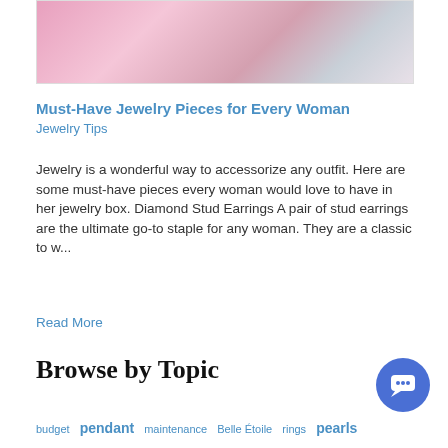[Figure (photo): Photo of diamond stud earrings in a pink jewelry box with pink background]
Must-Have Jewelry Pieces for Every Woman
Jewelry Tips
Jewelry is a wonderful way to accessorize any outfit. Here are some must-have pieces every woman would love to have in her jewelry box. Diamond Stud Earrings A pair of stud earrings are the ultimate go-to staple for any woman. They are a classic to w...
Read More
Browse by Topic
budget pendant maintenance Belle Étoile rings pearls